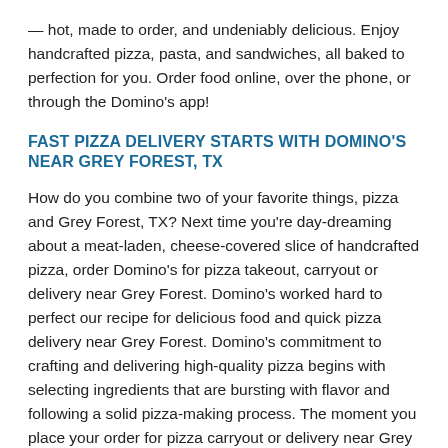— hot, made to order, and undeniably delicious. Enjoy handcrafted pizza, pasta, and sandwiches, all baked to perfection for you. Order food online, over the phone, or through the Domino's app!
FAST PIZZA DELIVERY STARTS WITH DOMINO'S NEAR GREY FOREST, TX
How do you combine two of your favorite things, pizza and Grey Forest, TX? Next time you're day-dreaming about a meat-laden, cheese-covered slice of handcrafted pizza, order Domino's for pizza takeout, carryout or delivery near Grey Forest. Domino's worked hard to perfect our recipe for delicious food and quick pizza delivery near Grey Forest. Domino's commitment to crafting and delivering high-quality pizza begins with selecting ingredients that are bursting with flavor and following a solid pizza-making process. The moment you place your order for pizza carryout or delivery near Grey Forest, your local Domino's jumps into action. Your crunchy thin crust, hand-tossed, fluffy Brooklyn-style, or gluten-free pizza crust is prepped and covered in a sauce of your choosing. You can play it cool with a traditional marinara or kick things up a notch with Alfredo sauce, BBQ sauce, or garlic